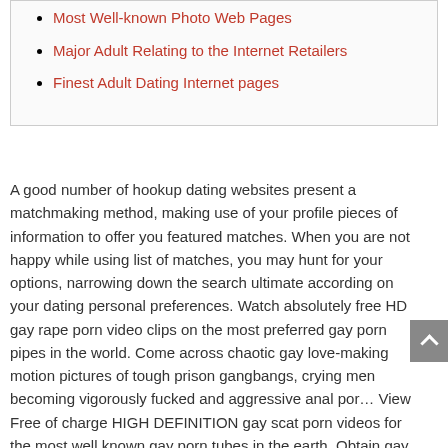Most Well-known Photo Web Pages
Major Adult Relating to the Internet Retailers
Finest Adult Dating Internet pages
A good number of hookup dating websites present a matchmaking method, making use of your profile pieces of information to offer you featured matches. When you are not happy while using list of matches, you may hunt for your options, narrowing down the search ultimate according on your dating personal preferences. Watch absolutely free HD gay rape porn video clips on the most preferred gay porn pipes in the world. Come across chaotic gay love-making motion pictures of tough prison gangbangs, crying men becoming vigorously fucked and aggressive anal por… View Free of charge HIGH DEFINITION gay scat porn videos for the most well known gay porn tubes in the earth. Obtain gay and lesbian sex